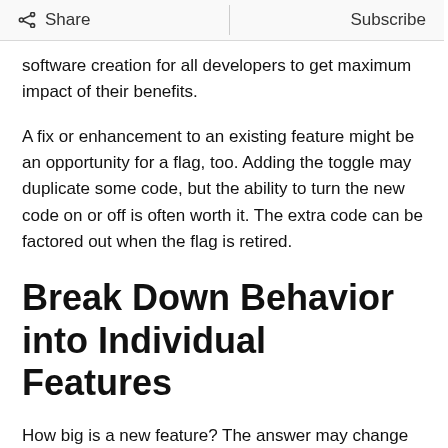Share | Subscribe
software creation for all developers to get maximum impact of their benefits.
A fix or enhancement to an existing feature might be an opportunity for a flag, too. Adding the toggle may duplicate some code, but the ability to turn the new code on or off is often worth it. The extra code can be factored out when the flag is retired.
Break Down Behavior into Individual Features
How big is a new feature? The answer may change when you add feature flags to the mix.